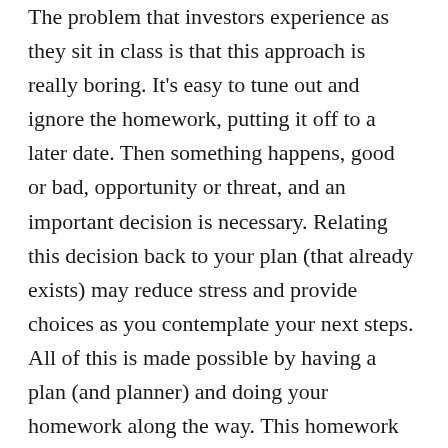The problem that investors experience as they sit in class is that this approach is really boring.  It's easy to tune out and ignore the homework, putting it off to a later date.  Then something happens, good or bad, opportunity or threat, and an important decision is necessary.  Relating this decision back to your plan (that already exists) may reduce stress and provide choices as you contemplate your next steps.  All of this is made possible by having a plan (and planner) and doing your homework along the way.  This homework consists of thinking and talking out loud on a periodic basis with someone you trust.  This dialogue overtime allows you to clarify in your own words what you want from your investments and more importantly life.  It puts all events in perspective and leads to not reacting to the latest fire drill.  Rarely are any reactive decisions